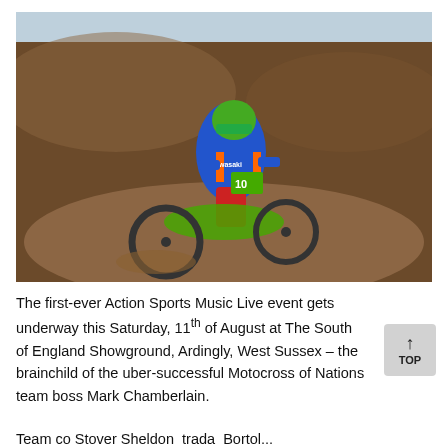[Figure (photo): Motocross rider on a green Kawasaki dirt bike, wearing blue, red and orange gear with a green helmet, riding through a muddy dirt track berm. The bike has number 10x visible.]
The first-ever Action Sports Music Live event gets underway this Saturday, 11th of August at The South of England Showground, Ardingly, West Sussex – the brainchild of the uber-successful Motocross of Nations team boss Mark Chamberlain.
Team co Stover Sheldon trada Bortol...